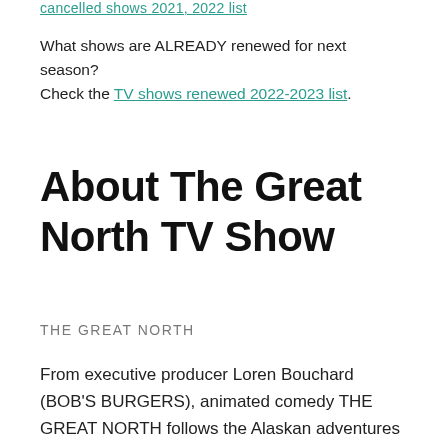cancelled shows 2021, 2022 list
What shows are ALREADY renewed for next season? Check the TV shows renewed 2022-2023 list.
About The Great North TV Show
THE GREAT NORTH
From executive producer Loren Bouchard (BOB'S BURGERS), animated comedy THE GREAT NORTH follows the Alaskan adventures of the Tobin family, as a single dad does his best to keep his weird bunch of kids close, especially as the artistic dreams of his only